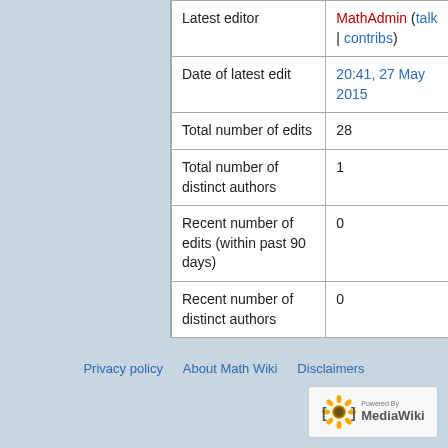| Latest editor | MathAdmin (talk | contribs) |
| Date of latest edit | 20:41, 27 May 2015 |
| Total number of edits | 28 |
| Total number of distinct authors | 1 |
| Recent number of edits (within past 90 days) | 0 |
| Recent number of distinct authors | 0 |
Privacy policy   About Math Wiki   Disclaimers